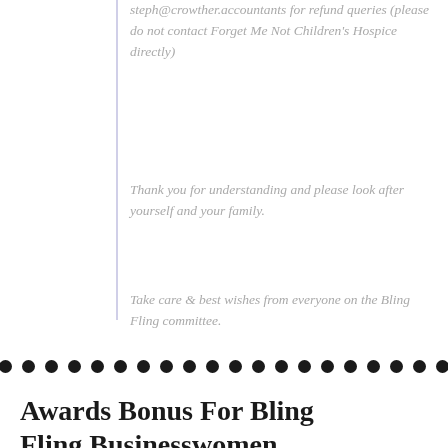steph@crowther.accountants for refund queries (please do not contact Forget Me Not Children's Hospice directly)
Thank you for understanding and please look after yourself and your family.
Take care & best wishes from everyone on the Bling Fling committee.
Awards Bonus For Bling Fling Businesswomen